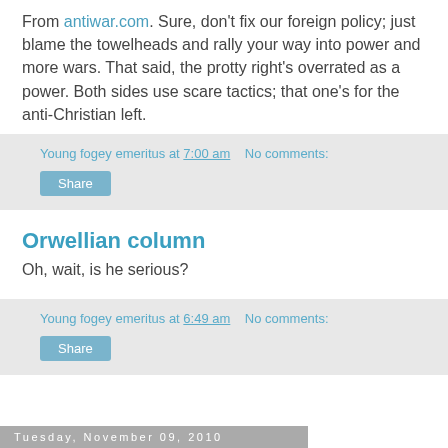From antiwar.com. Sure, don't fix our foreign policy; just blame the towelheads and rally your way into power and more wars. That said, the protty right's overrated as a power. Both sides use scare tactics; that one's for the anti-Christian left.
Young fogey emeritus at 7:00 am   No comments:
Share
Orwellian column
Oh, wait, is he serious?
Young fogey emeritus at 6:49 am   No comments:
Share
Tuesday, November 09, 2010